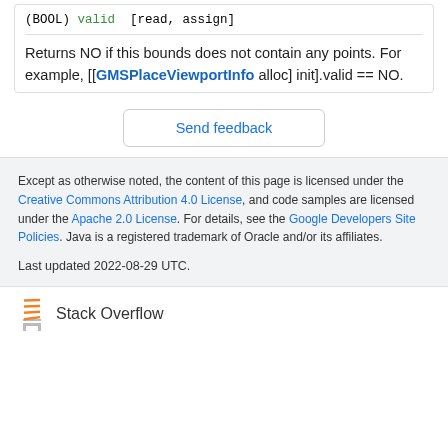(BOOL) valid [read, assign]
Returns NO if this bounds does not contain any points. For example, [[GMSPlaceViewportInfo alloc] init].valid == NO.
Send feedback
Except as otherwise noted, the content of this page is licensed under the Creative Commons Attribution 4.0 License, and code samples are licensed under the Apache 2.0 License. For details, see the Google Developers Site Policies. Java is a registered trademark of Oracle and/or its affiliates.

Last updated 2022-08-29 UTC.
[Figure (logo): Stack Overflow logo with text]